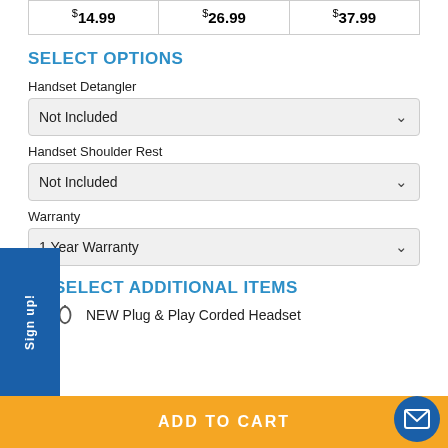| $14.99 | $26.99 | $37.99 |
SELECT OPTIONS
Handset Detangler
Not Included
Handset Shoulder Rest
Not Included
Warranty
1 Year Warranty
SELECT ADDITIONAL ITEMS
NEW Plug & Play Corded Headset
Sign up!
ADD TO CART